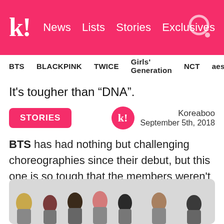K! News  Lists  Stories  Exclusives
BTS  BLACKPINK  TWICE  Girls' Generation  NCT  aespa
It's tougher than “DNA”.
STORIES
Koreaboo
September 5th, 2018
BTS has had nothing but challenging choreographies since their debut, but this one is so tough that the members weren't sure if they could do it live.
[Figure (photo): Group photo of BTS members in a row against a light background]